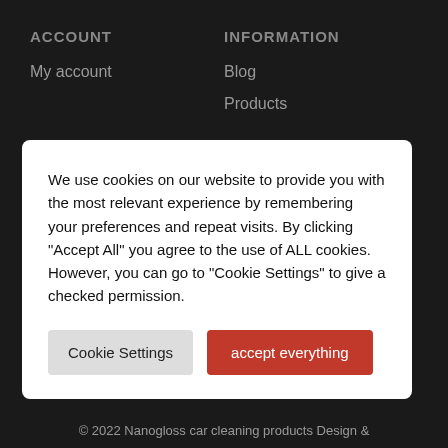ACCOUNT
My account
INFORMATION
Blog
Products
MEASURE NANOGLANS
We use cookies on our website to provide you with the most relevant experience by remembering your preferences and repeat visits. By clicking "Accept All" you agree to the use of ALL cookies. However, you can go to "Cookie Settings" to give a checked permission.
Cookie Settings
accept everything
SOCIAL
© 2022 Nanogloss car cleaning products Design &